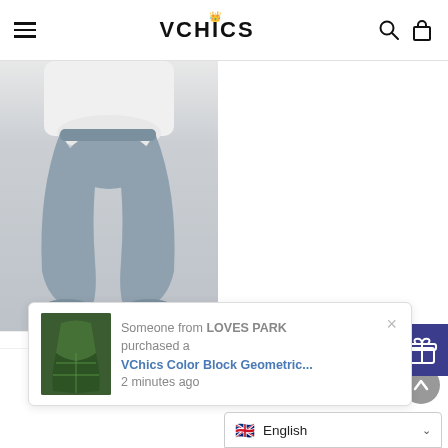VCHICS
[Figure (photo): Fashion product photo showing model wearing light grey wide-leg/harem cropped pants and white top, with sandals, on light grey background]
e Graphic
s
[Figure (photo): Notification popup showing product thumbnail of VChics Color Block Geometric... item with green geometric print dress/jacket]
Someone from LOVES PARK purchased a VChics Color Block Geometric... 2 minutes ago